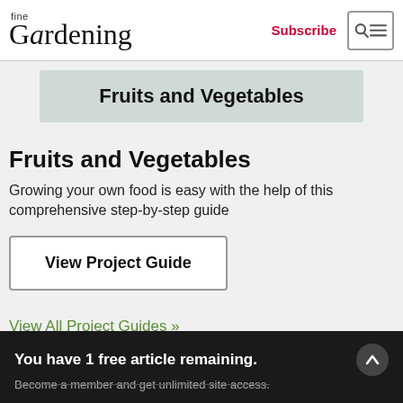fine Gardening | Subscribe
Fruits and Vegetables
Fruits and Vegetables
Growing your own food is easy with the help of this comprehensive step-by-step guide
View Project Guide
View All Project Guides »
You have 1 free article remaining. Become a member and get unlimited site access.